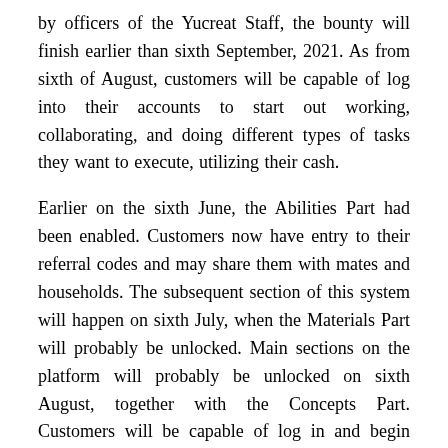by officers of the Yucreat Staff, the bounty will finish earlier than sixth September, 2021. As from sixth of August, customers will be capable of log into their accounts to start out working, collaborating, and doing different types of tasks they want to execute, utilizing their cash.
Earlier on the sixth June, the Abilities Part had been enabled. Customers now have entry to their referral codes and may share them with mates and households. The subsequent section of this system will happen on sixth July, when the Materials Part will probably be unlocked. Main sections on the platform will probably be unlocked on sixth August, together with the Concepts Part. Customers will be capable of log in and begin exploring the chances Yucreat can supply, by way of innovation.